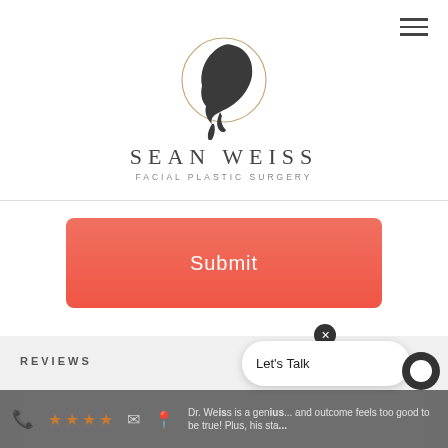[Figure (logo): Sean Weiss Facial Plastic Surgery logo: circular outline with a dark silhouette of a face profile inside, text 'SEAN WEISS' in large spaced serif letters and 'FACIAL PLASTIC SURGERY' in small spaced sans-serif letters below]
[Figure (other): Red/coral gradient Submit button]
REVIEWS
Dr. Weiss is a genius... and outcome feels too good to be true! Plus, his sta...
[Figure (other): Chat widget overlay with 'Let's Talk' text and close button]